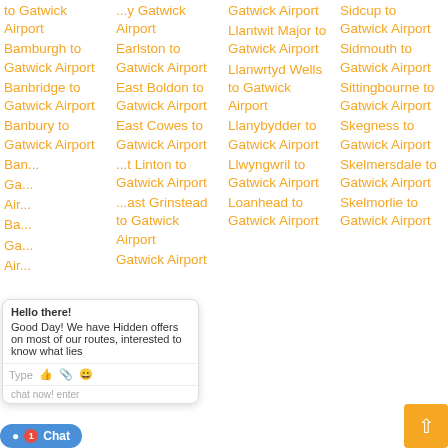to Gatwick Airport
Bamburgh to Gatwick Airport
Banbridge to Gatwick Airport
Banbury to Gatwick Airport
Ban... to Gatwick Airport
Ban... to Gatwick Airport
...to Gatwick Airport
...to Gatwick Airport
...to Gatwick Airport
...y Gatwick Airport
Earlston to Gatwick Airport
East Boldon to Gatwick Airport
East Cowes to Gatwick Airport
East Linton to Gatwick Airport
East Grinstead to Gatwick Airport
Gatwick Airport
Gatwick Airport
Llantwit Major to Gatwick Airport
Llanwrtyd Wells to Gatwick Airport
Llanybydder to Gatwick Airport
Llwyngwril to Gatwick Airport
Loanhead to Gatwick Airport
Sidcup to Gatwick Airport
Sidmouth to Gatwick Airport
Sittingbourne to Gatwick Airport
Skegness to Gatwick Airport
Skelmersdale to Gatwick Airport
Skelmorlie to Gatwick Airport